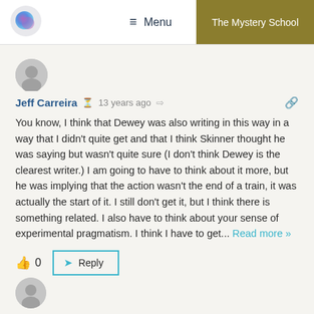Menu | The Mystery School
[Figure (illustration): User avatar circle (grey placeholder) for Jeff Carreira]
Jeff Carreira  13 years ago
You know, I think that Dewey was also writing in this way in a way that I didn't quite get and that I think Skinner thought he was saying but wasn't quite sure (I don't think Dewey is the clearest writer.) I am going to have to think about it more, but he was implying that the action wasn't the end of a train, it was actually the start of it. I still don't get it, but I think there is something related. I also have to think about your sense of experimental pragmatism. I think I have to get... Read more »
0  Reply
[Figure (illustration): User avatar circle (grey placeholder) at bottom]